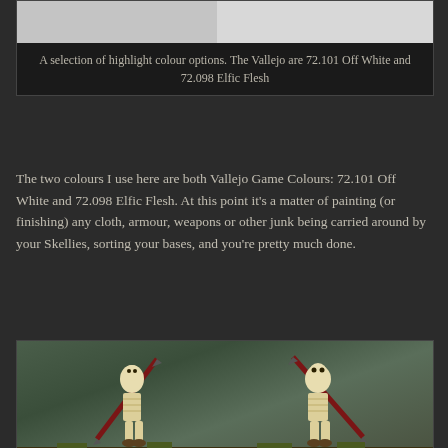[Figure (photo): Top portion of an image showing highlight colour options for miniature painting, showing a light grey/white area at top]
A selection of highlight colour options. The Vallejo are 72.101 Off White and 72.098 Elfic Flesh
The two colours I use here are both Vallejo Game Colours: 72.101 Off White and 72.098 Elfic Flesh. At this point it’s a matter of painting (or finishing) any cloth, armour, weapons or other junk being carried around by your Skellies, sorting your bases, and you’re pretty much done.
[Figure (photo): Two painted skeleton miniature figures holding red spears, standing on bases with green/brown tufts, against a dark green background]